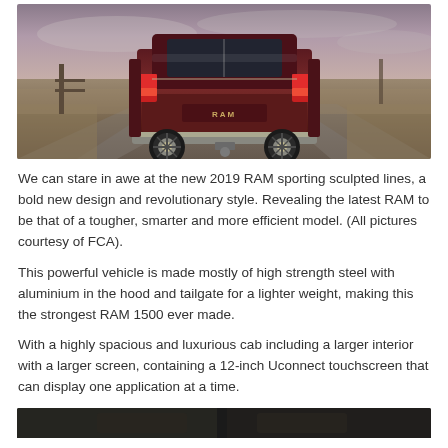[Figure (photo): A dark red/maroon 2019 RAM 1500 pickup truck photographed from the rear three-quarter angle on a rural dirt road, with open fields and a fence post visible in the background, under an overcast sky.]
We can stare in awe at the new 2019 RAM sporting sculpted lines, a bold new design and revolutionary style. Revealing the latest RAM to be that of a tougher, smarter and more efficient model. (All pictures courtesy of FCA).
This powerful vehicle is made mostly of high strength steel with aluminium in the hood and tailgate for a lighter weight, making this the strongest RAM 1500 ever made.
With a highly spacious and luxurious cab including a larger interior with a larger screen, containing a 12-inch Uconnect touchscreen that can display one application at a time.
[Figure (photo): Bottom portion of another photo of the 2019 RAM, showing a dark interior or exterior detail (partially visible, cropped).]